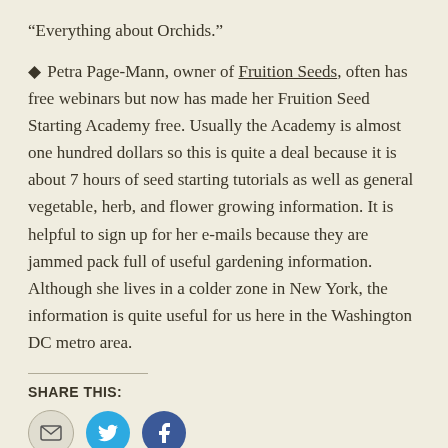“Everything about Orchids.”
◆ Petra Page-Mann, owner of Fruition Seeds, often has free webinars but now has made her Fruition Seed Starting Academy free. Usually the Academy is almost one hundred dollars so this is quite a deal because it is about 7 hours of seed starting tutorials as well as general vegetable, herb, and flower growing information. It is helpful to sign up for her e-mails because they are jammed pack full of useful gardening information. Although she lives in a colder zone in New York, the information is quite useful for us here in the Washington DC metro area.
SHARE THIS: